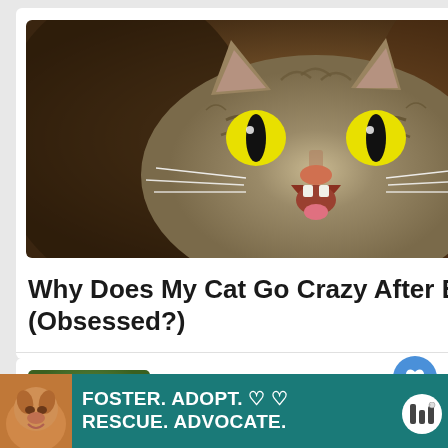[Figure (photo): A tabby cat with mouth open wide showing teeth, with bright yellow-green eyes, photographed close-up against a brown background.]
Why Does My Cat Go Crazy After Eating? (Obsessed?)
[Figure (photo): Headshot of author Lindsey Browlingdon, a woman with curly dark hair smiling, outdoors with green background.]
Lindsey Browlingdon
[Figure (photo): WHAT'S NEXT thumbnail showing a small image. Can Cats Eat Irish Sea...]
WHAT'S NEXT → Can Cats Eat Irish Sea...
[Figure (photo): Advertisement banner: FOSTER. ADOPT. RESCUE. ADVOCATE. with a dog image on teal background.]